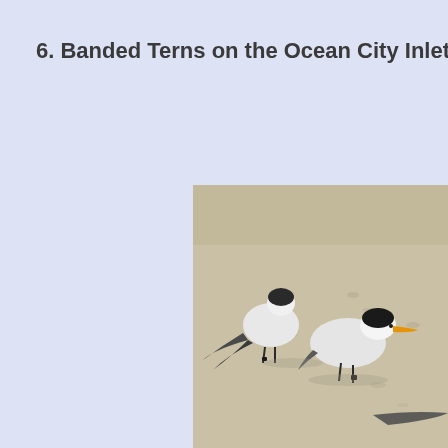6. Banded Terns on the Ocean City Inlet beach. T
[Figure (photo): Photograph of banded terns standing on a sandy beach at Ocean City Inlet. Two prominent terns are visible in the foreground: one facing away showing black cap and white/gray body, another facing right with orange-yellow beak and black cap. Additional bird parts visible at edges. Sandy beach background with footprints.]